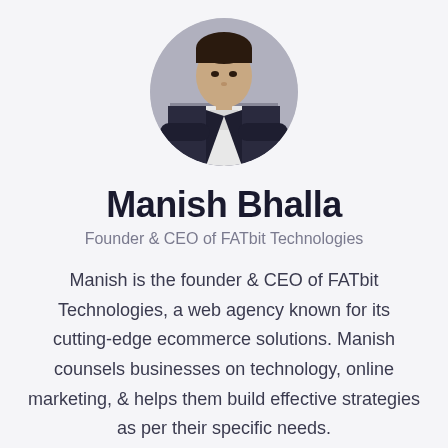[Figure (photo): Circular profile photo of Manish Bhalla, a man in a dark suit with arms crossed against a light background]
Manish Bhalla
Founder & CEO of FATbit Technologies
Manish is the founder & CEO of FATbit Technologies, a web agency known for its cutting-edge ecommerce solutions. Manish counsels businesses on technology, online marketing, & helps them build effective strategies as per their specific needs.